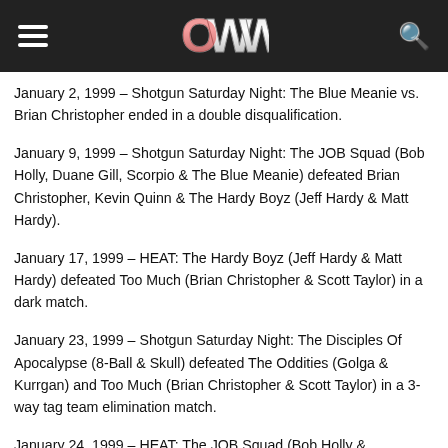OWW (Online World of Wrestling) site header with hamburger menu, OWW logo, and search icon
January 2, 1999 – Shotgun Saturday Night: The Blue Meanie vs. Brian Christopher ended in a double disqualification.
January 9, 1999 – Shotgun Saturday Night: The JOB Squad (Bob Holly, Duane Gill, Scorpio & The Blue Meanie) defeated Brian Christopher, Kevin Quinn & The Hardy Boyz (Jeff Hardy & Matt Hardy).
January 17, 1999 – HEAT: The Hardy Boyz (Jeff Hardy & Matt Hardy) defeated Too Much (Brian Christopher & Scott Taylor) in a dark match.
January 23, 1999 – Shotgun Saturday Night: The Disciples Of Apocalypse (8-Ball & Skull) defeated The Oddities (Golga & Kurrgan) and Too Much (Brian Christopher & Scott Taylor) in a 3-way tag team elimination match.
January 24, 1999 – HEAT: The JOB Squad (Bob Holly &